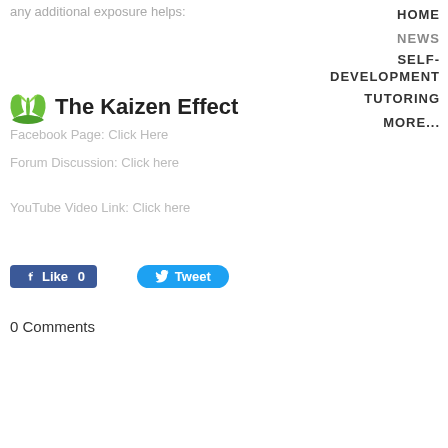any additional exposure helps:
HOME NEWS SELF-DEVELOPMENT TUTORING MORE...
[Figure (logo): The Kaizen Effect logo with green plant hands icon and bold text]
Facebook Page: Click Here
Forum Discussion: Click here
YouTube Video Link: Click here
Like 0   Tweet
0 Comments